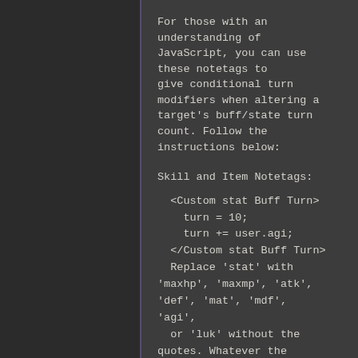For those with an understanding of JavaScript, you can use these notetags to give conditional turn modifiers when altering a target's buff/state turn count. Follow the instructions below:
Skill and Item Notetags:
<Custom stat Buff Turn>
    turn = 10;
    turn += user.agi;
  </Custom stat Buff Turn>
  Replace 'stat' with 'maxhp', 'maxmp', 'atk', 'def', 'mat', 'mdf', 'agi',
  or 'luk' without the quotes. Whatever the 'turn' variable returns is